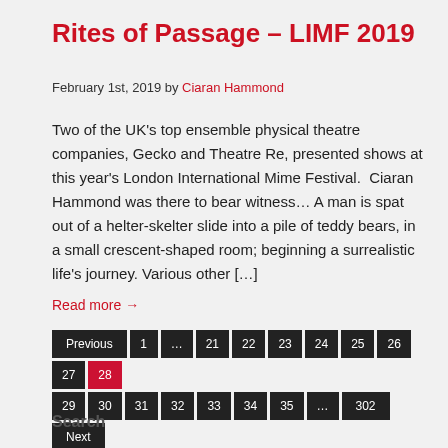Rites of Passage – LIMF 2019
February 1st, 2019 by Ciaran Hammond
Two of the UK's top ensemble physical theatre companies, Gecko and Theatre Re, presented shows at this year's London International Mime Festival.  Ciaran Hammond was there to bear witness… A man is spat out of a helter-skelter slide into a pile of teddy bears, in a small crescent-shaped room; beginning a surrealistic life's journey. Various other […]
Read more →
Pagination: Previous 1 … 21 22 23 24 25 26 27 28 29 30 31 32 33 34 35 … 302 Next
Search